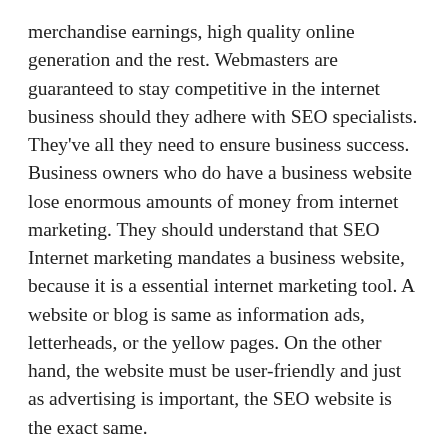merchandise earnings, high quality online generation and the rest. Webmasters are guaranteed to stay competitive in the internet business should they adhere with SEO specialists. They've all they need to ensure business success. Business owners who do have a business website lose enormous amounts of money from internet marketing. They should understand that SEO Internet marketing mandates a business website, because it is a essential internet marketing tool. A website or blog is same as information ads, letterheads, or the yellow pages. On the other hand, the website must be user-friendly and just as advertising is important, the SEO website is the exact same. It is correct that 44 percent of small companies do not have a website or blog. They cannot reach 73 percent of Internet users each day. If your company has a website, clients can research the most recent products the business proprietor company offers. SEO Internet marketing can help any company through their website to sell products. All companies should have their own website, including companies using websites offered by